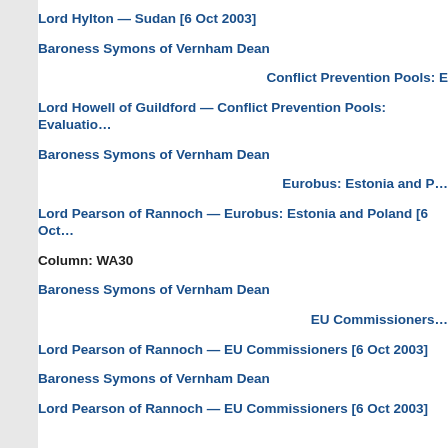Lord Hylton — Sudan [6 Oct 2003]
Baroness Symons of Vernham Dean
Conflict Prevention Pools: E
Lord Howell of Guildford — Conflict Prevention Pools: Evaluatio…
Baroness Symons of Vernham Dean
Eurobus: Estonia and P…
Lord Pearson of Rannoch — Eurobus: Estonia and Poland [6 Oct…
Column: WA30
Baroness Symons of Vernham Dean
EU Commissioners…
Lord Pearson of Rannoch — EU Commissioners [6 Oct 2003]
Baroness Symons of Vernham Dean
Lord Pearson of Rannoch — EU Commissioners [6 Oct 2003]